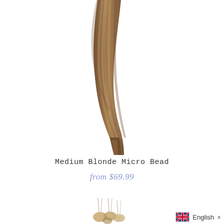[Figure (photo): Straight medium blonde hair extension strand against white background, falling from upper center to lower center with a slight curve]
Medium Blonde Micro Bead
from $69.99
[Figure (photo): Partial view of micro bead hair extension clips/beads at bottom of page]
English